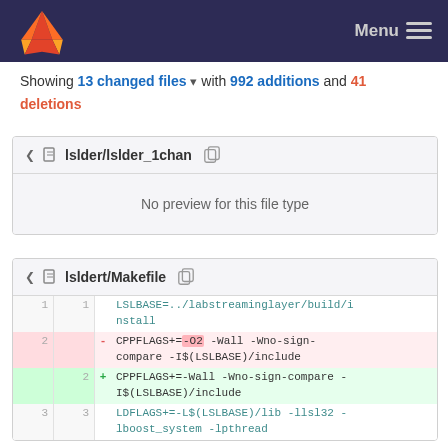Menu
Showing 13 changed files with 992 additions and 41 deletions
lslder/lslder_1chan
No preview for this file type
lsldert/Makefile
| old | new | sign | code |
| --- | --- | --- | --- |
| 1 | 1 |  | LSLBASE=../labstreaminglayer/build/install |
| 2 |  | - | CPPFLAGS+=-O2 -Wall -Wno-sign-compare -I$(LSLBASE)/include |
|  | 2 | + | CPPFLAGS+=-Wall -Wno-sign-compare -I$(LSLBASE)/include |
| 3 | 3 |  | LDFLAGS+=-L$(LSLBASE)/lib -llsl32 -lboost_system -lpthread |